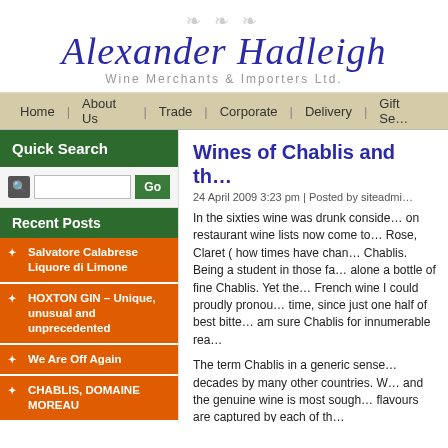[Figure (logo): Alexander Hadleigh Wine Merchants & Importers Ltd. logo with ornamental flourish above]
Home | About Us | Trade | Corporate | Delivery | Gift Se...
Quick Search
Recent Posts
Salvatore Calabrese Liquore di Limone
HOXTON GIN – Unique, unusual and unprecedented
We Are Off Again
CHABLIS, DOMAINE MOREAU
Hawkshead Wines from Central Otago in New Zealand
Wines of Chablis and th...
24 April 2009 3:23 pm | Posted by siteadmi...
In the sixties wine was drunk considerably more than it is today and on restaurant wine lists now come to think of it. Hock, Beaujolais, Rose, Claret ( how times have changed!) and of course the ubiquitous Chablis. Being a student in those far off days I could never afford alone a bottle of fine Chablis. Yet the name Chablis was one French wine I could proudly pronounce correctly and at the time, since just one half of best bitter cost less than... I am sure Chablis for innumerable rea...
The term Chablis in a generic sense has been used for decades by many other countries. Wines... and the genuine wine is most sought... flavours are captured by each of th...